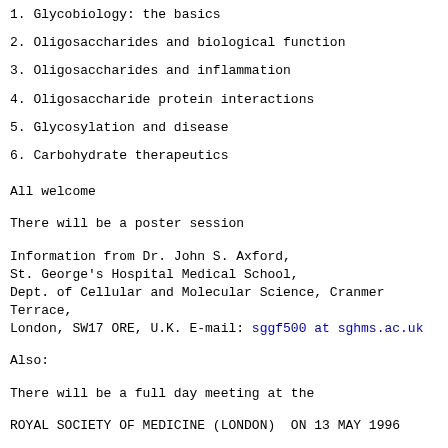1. Glycobiology: the basics
2. Oligosaccharides and biological function
3. Oligosaccharides and inflammation
4. Oligosaccharide protein interactions
5. Glycosylation and disease
6. Carbohydrate therapeutics
All welcome
There will be a poster session
Information from Dr. John S. Axford,
St. George's Hospital Medical School,
Dept. of Cellular and Molecular Science, Cranmer Terrace,
London, SW17 ORE, U.K. E-mail: sggf500 at sghms.ac.uk
Also:
There will be a full day meeting at the
ROYAL SOCIETY OF MEDICINE (LONDON)  ON 13 MAY 1996